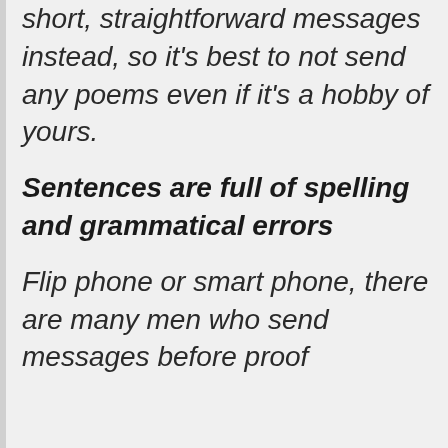short, straightforward messages instead, so it's best to not send any poems even if it's a hobby of yours.
Sentences are full of spelling and grammatical errors
Flip phone or smart phone, there are many men who send messages before proof